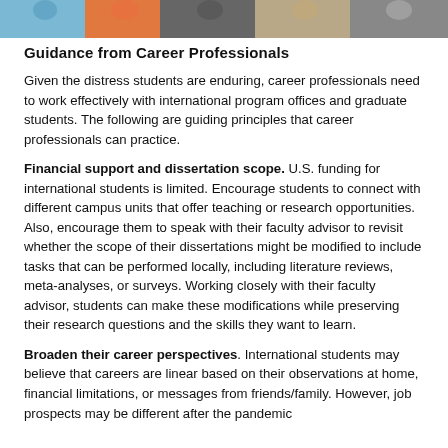[Figure (photo): Photo strip at top showing multiple people, partial view, with blue, orange, and other colored clothing]
Guidance from Career Professionals
Given the distress students are enduring, career professionals need to work effectively with international program offices and graduate students. The following are guiding principles that career professionals can practice.
Financial support and dissertation scope. U.S. funding for international students is limited. Encourage students to connect with different campus units that offer teaching or research opportunities. Also, encourage them to speak with their faculty advisor to revisit whether the scope of their dissertations might be modified to include tasks that can be performed locally, including literature reviews, meta-analyses, or surveys. Working closely with their faculty advisor, students can make these modifications while preserving their research questions and the skills they want to learn.
Broaden their career perspectives. International students may believe that careers are linear based on their observations at home, financial limitations, or messages from friends/family. However, job prospects may be different after the pandemic